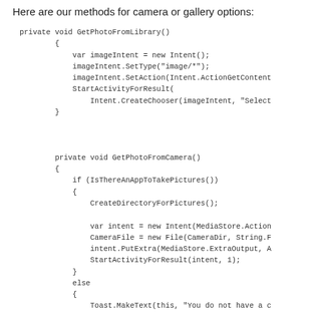Here are our methods for camera or gallery options:
[Figure (screenshot): Code snippet showing two C# methods: GetPhotoFromLibrary() and GetPhotoFromCamera() with Android intent-based photo selection logic]